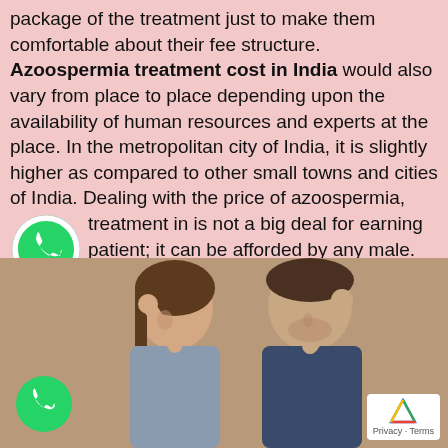package of the treatment just to make them comfortable about their fee structure. Azoospermia treatment cost in India would also vary from place to place depending upon the availability of human resources and experts at the place. In the metropolitan city of India, it is slightly higher as compared to other small towns and cities of India. Dealing with the price of azoospermia, treatment in is not a big deal for earning patient; it can be afforded by any male. Basically, the treatment is recommended of the couple facing the problem for sterility due to the male member from the couple.
[Figure (photo): A couple sitting together looking stressed, both with hands on their heads]